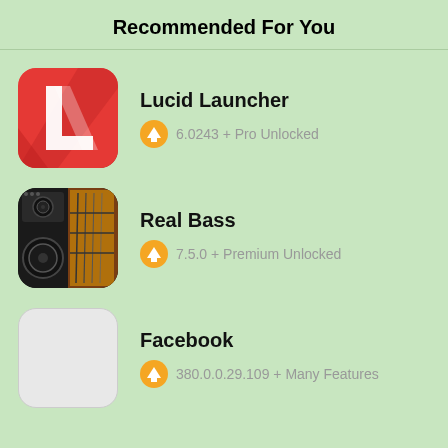Recommended For You
Lucid Launcher
6.0243 + Pro Unlocked
Real Bass
7.5.0 + Premium Unlocked
Facebook
380.0.0.29.109 + Many Features